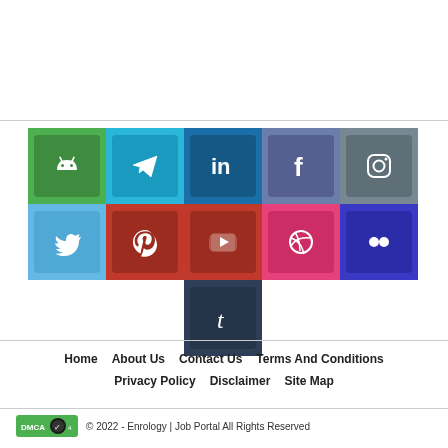[Figure (infographic): Social media icon grid with 11 platform icons: Android, Telegram, LinkedIn, Facebook, Instagram (row 1); Twitter, Pinterest, YouTube, Dribbble, Flickr (row 2); Tumblr (row 3, centered)]
Home
About Us
Contact Us
Terms And Conditions
Privacy Policy
Disclaimer
Site Map
© 2022 - Enrology | Job Portal All Rights Reserved